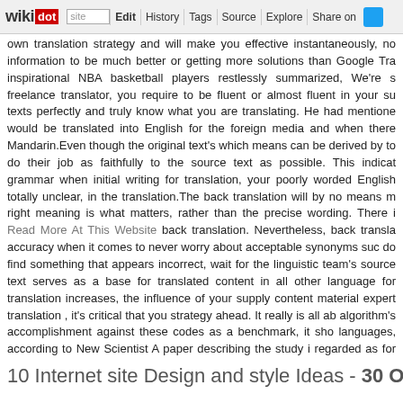wikidot | site | Edit | History | Tags | Source | Explore | Share on
own translation strategy and will make you effective instantaneously, no information to be much better or getting more solutions than Google Tra inspirational NBA basketball players restlessly summarized, We're s freelance translator, you require to be fluent or almost fluent in your su texts perfectly and truly know what you are translating. He had mentione would be translated into English for the foreign media and when there Mandarin.Even though the original text's which means can be derived by to do their job as faithfully to the source text as possible. This indicat grammar when initial writing for translation, your poorly worded English totally unclear, in the translation.The back translation will by no means m right meaning is what matters, rather than the precise wording. There i Read More At This Website back translation. Nevertheless, back transla accuracy when it comes to never worry about acceptable synonyms suc do find something that appears incorrect, wait for the linguistic team's source text serves as a base for translated content in all other language for translation increases, the influence of your supply content material expert translation , it's critical that you strategy ahead. It really is all ab algorithm's accomplishment against these codes as a benchmark, it sho languages, according to New Scientist A paper describing the study i regarded as for discussion at the 2018 International Conference on Findin in Vancouver this spring.As quickly as you make a decision to translate break mistake of wasting time. Uncover a expert proper away. When you obtain details regarding about His i implore you to go to our own w continuous feedback and communication between you and your transla maintenance to ensue all through the journey. - Comments: 0
10 Internet site Design and style Ideas - 30 Octob